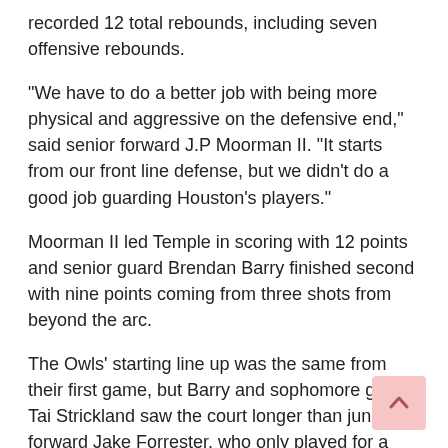recorded 12 total rebounds, including seven offensive rebounds.
“We have to do a better job with being more physical and aggressive on the defensive end,” said senior forward J.P Moorman II. “It starts from our front line defense, but we didn’t do a good job guarding Houston’s players.”
Moorman II led Temple in scoring with 12 points and senior guard Brendan Barry finished second with nine points coming from three shots from beyond the arc.
The Owls’ starting line up was the same from their first game, but Barry and sophomore guard Tai Strickland saw the court longer than junior forward Jake Forrester, who only played for a total of 15 minutes.
Barry had a smooth connection on the court with freshman guard Jeremiah Williams, who had four assists